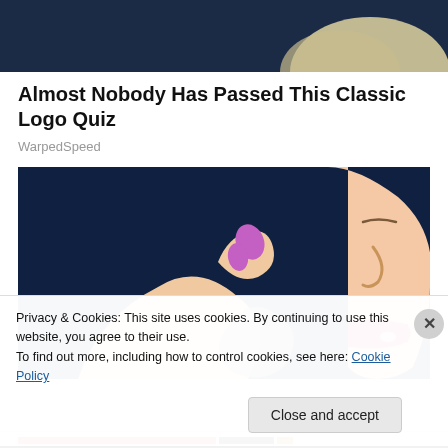[Figure (illustration): Top portion of a person wearing a dark navy garment, cropped at the neck/shoulder area. Cream/beige fabric visible at bottom right.]
Almost Nobody Has Passed This Classic Logo Quiz
WarpedSpeed
[Figure (illustration): Cartoon/illustration of a woman's face in profile view with pink lips open slightly, holding her hand with purple-painted fingernails near her mouth. Dark navy background with a green abstract shape in the center.]
Privacy & Cookies: This site uses cookies. By continuing to use this website, you agree to their use.
To find out more, including how to control cookies, see here: Cookie Policy
Close and accept